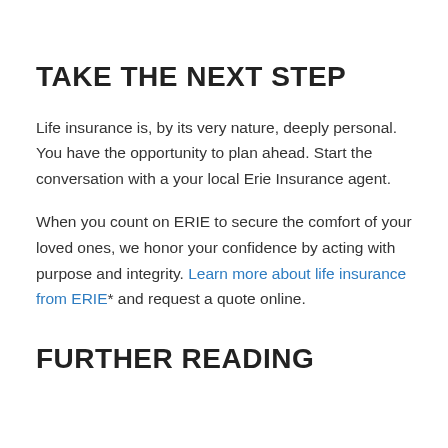TAKE THE NEXT STEP
Life insurance is, by its very nature, deeply personal. You have the opportunity to plan ahead. Start the conversation with a your local Erie Insurance agent.
When you count on ERIE to secure the comfort of your loved ones, we honor your confidence by acting with purpose and integrity. Learn more about life insurance from ERIE* and request a quote online.
FURTHER READING